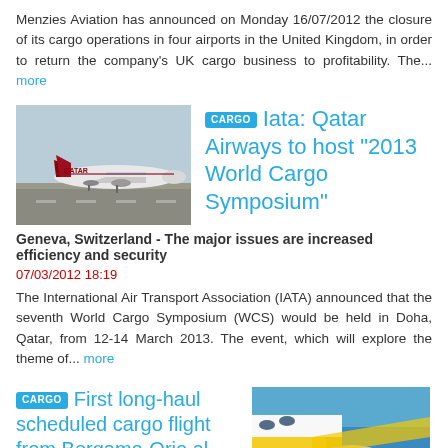Menzies Aviation has announced on Monday 16/07/2012 the closure of its cargo operations in four airports in the United Kingdom, in order to return the company's UK cargo business to profitability. The... more
[Figure (photo): Qatar Airways aircraft on runway]
CARGO Iata: Qatar Airways to host "2013 World Cargo Symposium"
Geneva, Switzerland - The major issues are increased efficiency and security
07/03/2012 18:19
The International Air Transport Association (IATA) announced that the seventh World Cargo Symposium (WCS) would be held in Doha, Qatar, from 12-14 March 2013. The event, which will explore the theme of... more
CARGO First long-haul scheduled cargo flight from Bergamo-Orio al Serio airport with B-777F Aerologic aircraft
[Figure (photo): Aerologic cargo aircraft nose and tail with yellow and white livery against blue sky]